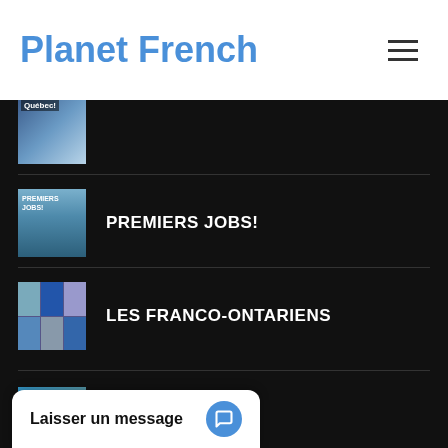Planet French
PREMIERS JOBS!
LES FRANCO-ONTARIENS
LES ACADIENS (partial)
Laisser un message